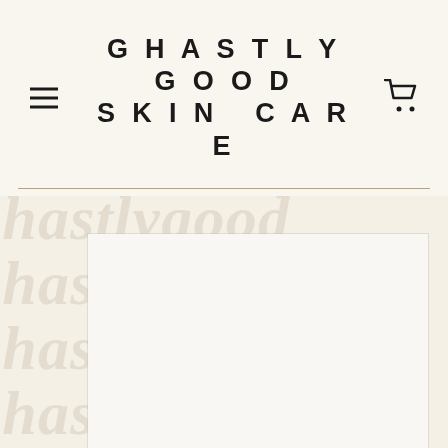GHASTLY GOOD SKIN CARE
[Figure (illustration): Website header for Ghastly Good Skin Care brand with hamburger menu icon on left, brand name centered in large bold uppercase spaced lettering across three lines, and shopping cart icon on right, with a thin gold horizontal divider line below, followed by a watermark background with cursive brand name repeated and a white product card area.]